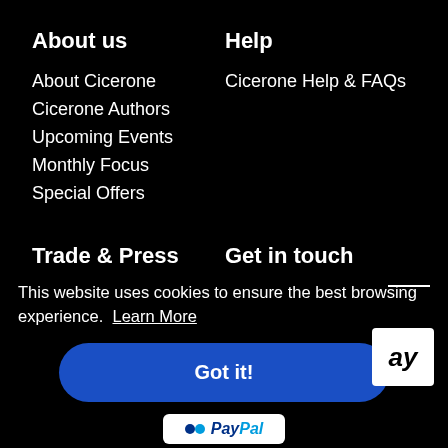About us
About Cicerone
Cicerone Authors
Upcoming Events
Monthly Focus
Special Offers
Help
Cicerone Help & FAQs
Trade & Press
Trade Customers
Press Centre
Get in touch
Contact Us
Job Vacancies
This website uses cookies to ensure the best browsing experience.  Learn More
Got it!
[Figure (logo): PayPal logo button]